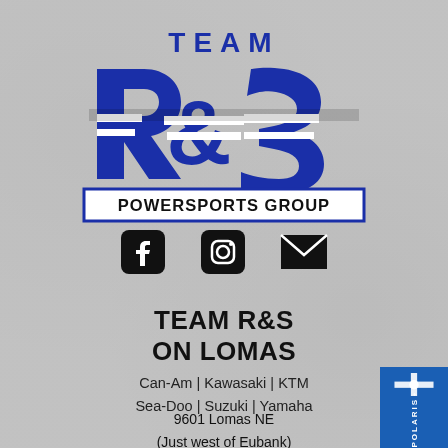[Figure (logo): Team R&S Powersports Group logo — large blue stylized R&S letters with white horizontal stripes, above text 'POWERSPORTS GROUP' in a blue-outlined black rectangle]
[Figure (infographic): Three social media icons: Facebook, Instagram, and email envelope, in black]
TEAM R&S
ON LOMAS
Can-Am | Kawasaki | KTM
Sea-Doo | Suzuki | Yamaha
9601 Lomas NE
(Just west of Eubank)
Albuquerque, NM 87112
[Figure (logo): Polaris logo badge in blue at bottom right corner]